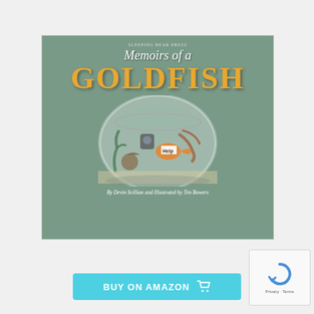[Figure (illustration): Book cover of 'Memoirs of a Goldfish' showing a goldfish bowl packed with various animals and objects, with the title in large yellow letters and subtitle text 'By Devin Scillian and Illustrated by Tim Bowers']
[Figure (screenshot): Buy on Amazon button in cyan/turquoise color with shopping cart icon]
[Figure (other): reCAPTCHA widget showing circular arrow logo with Privacy and Terms text]